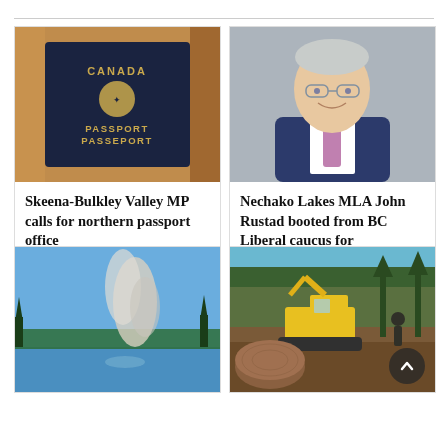[Figure (photo): Canadian passport on wooden surface]
Skeena-Bulkley Valley MP calls for northern passport office
[Figure (photo): Headshot of an older man in a suit and tie, smiling]
Nechako Lakes MLA John Rustad booted from BC Liberal caucus for questioning climate change
[Figure (photo): Wildfire smoke over a lake in northern BC]
[Figure (photo): Yellow excavator on a muddy logging road in forested mountains]